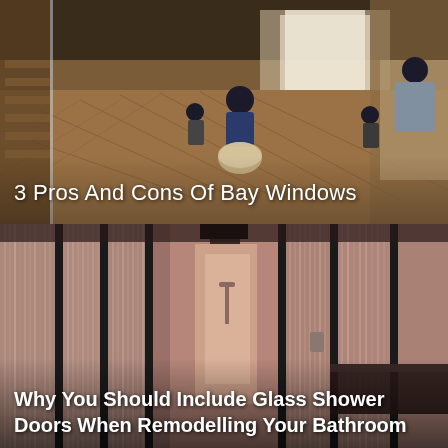[Figure (photo): Interior room with herringbone wooden floor, staircase on left, people sitting near a large bay window, warm natural light]
3 Pros And Cons Of Bay Windows
[Figure (photo): Modern bathroom interior with ribbed glass shower doors/partitions in dark frames, warm pink-toned walls, shower visible through glass, dark countertop]
Why You Should Include Glass Shower Doors When Remodelling Your Bathroom